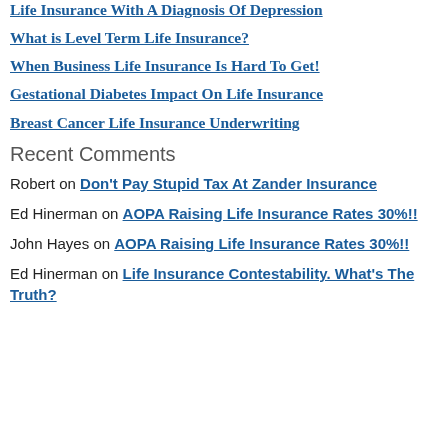Life Insurance With A Diagnosis Of Depression
What is Level Term Life Insurance?
When Business Life Insurance Is Hard To Get!
Gestational Diabetes Impact On Life Insurance
Breast Cancer Life Insurance Underwriting
Recent Comments
Robert on Don't Pay Stupid Tax At Zander Insurance
Ed Hinerman on AOPA Raising Life Insurance Rates 30%!!
John Hayes on AOPA Raising Life Insurance Rates 30%!!
Ed Hinerman on Life Insurance Contestability. What's The Truth?